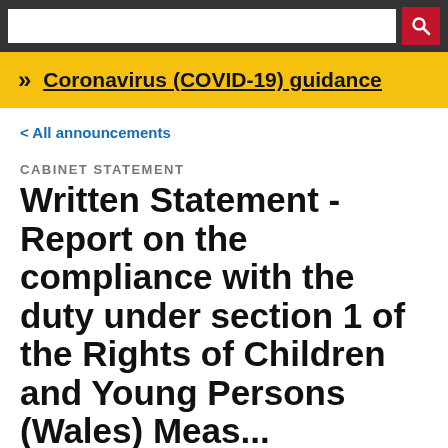Coronavirus (COVID-19) guidance
< All announcements
CABINET STATEMENT
Written Statement - Report on the compliance with the duty under section 1 of the Rights of Children and Young Persons (Wales) Measure 2011